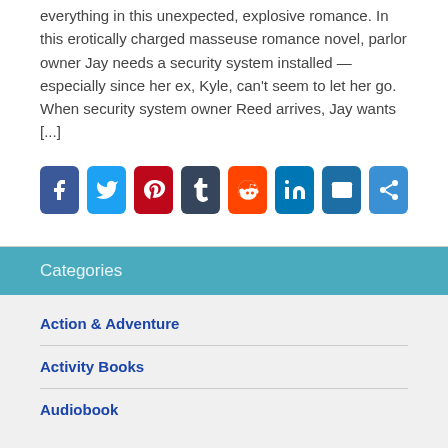everything in this unexpected, explosive romance. In this erotically charged masseuse romance novel, parlor owner Jay needs a security system installed —especially since her ex, Kyle, can't seem to let her go. When security system owner Reed arrives, Jay wants [...]
[Figure (other): Social sharing icons: Facebook, Twitter, Pinterest, Tumblr, Reddit, LinkedIn, Email, Share]
Categories
Action & Adventure
Activity Books
Audiobook